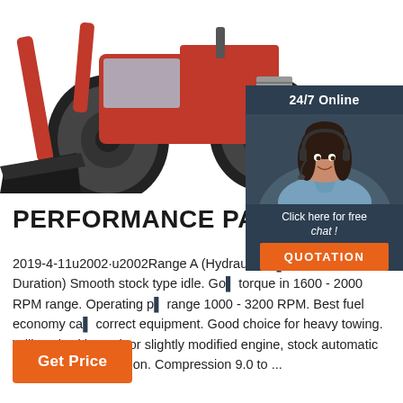[Figure (photo): Partial view of a red front-loader tractor with black bucket and large black tires on white background]
[Figure (photo): 24/7 Online chat widget with a smiling female customer service agent wearing a headset, dark navy background, Click here for free chat text, and orange QUOTATION button]
PERFORMANCE PARTS - E[partially obscured]
2019-4-11u2002·u2002Range A (Hydraulic: U[partially obscured] Effective Duration) Smooth stock type idle. Go[partially obscured] torque in 1600 - 2000 RPM range. Operating p[partially obscured] range 1000 - 3200 RPM. Best fuel economy ca[partially obscured] correct equipment. Good choice for heavy towing. Will work with stock or slightly modified engine, stock automatic or manual transmission. Compression 9.0 to ...
Get Price